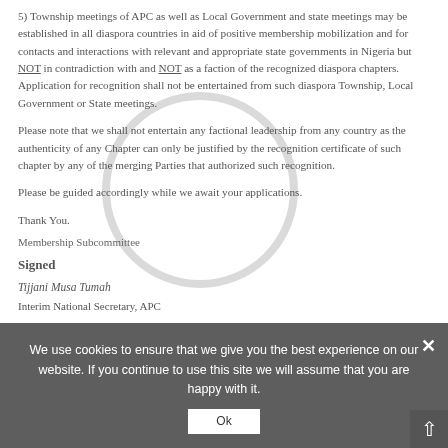5) Township meetings of APC as well as Local Government and state meetings may be established in all diaspora countries in aid of positive membership mobilization and for contacts and interactions with relevant and appropriate state governments in Nigeria but NOT in contradiction with and NOT as a faction of the recognized diaspora chapters. Application for recognition shall not be entertained from such diaspora Township, Local Government or State meetings.
Please note that we shall not entertain any factional leadership from any country as the authenticity of any Chapter can only be justified by the recognition certificate of such chapter by any of the merging Parties that authorized such recognition.
Please be guided accordingly while we await your applications.
Thank You.
Membership Subcommittee
Signed
Tijjani Musa Tumah
Interim National Secretary, APC
[Figure (other): Semi-transparent circular watermark stamp overlay on the document text]